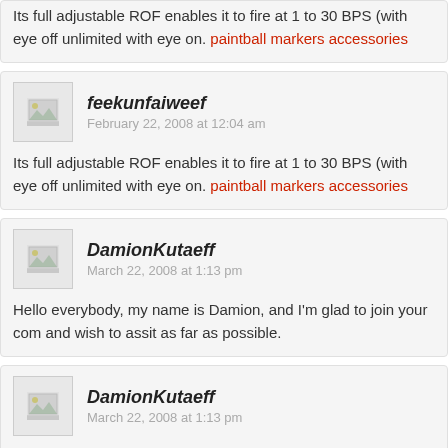Its full adjustable ROF enables it to fire at 1 to 30 BPS (with eye off unlimited with eye on. paintball markers accessories
feekunfaiweef
February 22, 2008 at 12:04 am
Its full adjustable ROF enables it to fire at 1 to 30 BPS (with eye off unlimited with eye on. paintball markers accessories
DamionKutaeff
March 22, 2008 at 1:13 pm
Hello everybody, my name is Damion, and I'm glad to join your com and wish to assit as far as possible.
DamionKutaeff
March 22, 2008 at 1:13 pm